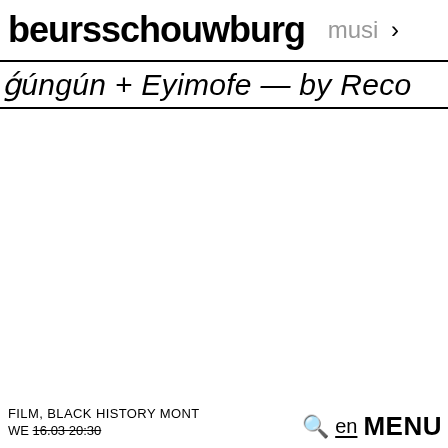beursschouwburg musi >
ǵúngún + Eyimofe — by Reco
FILM, BLACK HISTORY MONTH
WE 16.03 20:30
en MENU